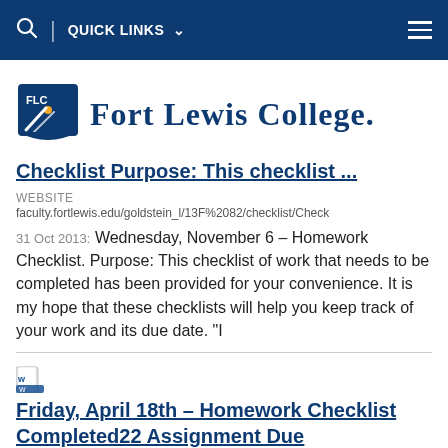QUICK LINKS
[Figure (logo): Fort Lewis College logo with FLC shield and college name]
Checklist Purpose: This checklist ...
WEBSITE
faculty.fortlewis.edu/goldstein_l/13F%2082/checklist/Check
31 Oct 2013: Wednesday, November 6 – Homework Checklist. Purpose: This checklist of work that needs to be completed has been provided for your convenience. It is my hope that these checklists will help you keep track of your work and its due date. "I
Friday, April 18th – Homework Checklist Completed22 Assignment Due